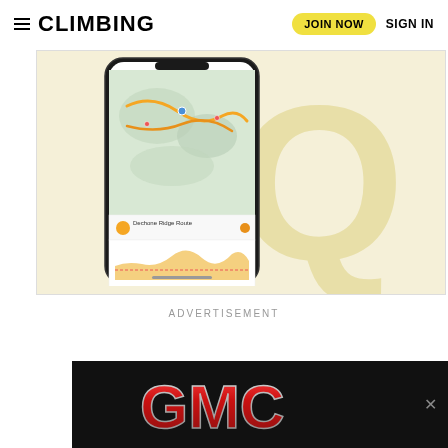CLIMBING | JOIN NOW | SIGN IN
[Figure (screenshot): App screenshot showing a trail map with yellow/orange route lines on a phone screen, with a large cream-colored letter Q in the background on a light yellow banner.]
ADVERTISEMENT
[Figure (logo): GMC logo in red metallic lettering on a black background, with an X close button on the right.]